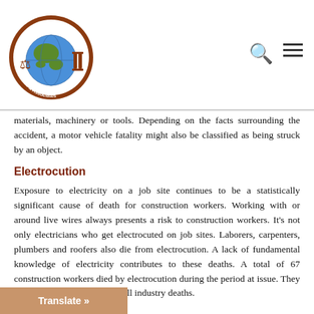The Law Firm of Figueroa & Associates — logo and navigation icons
materials, machinery or tools. Depending on the facts surrounding the accident, a motor vehicle fatality might also be classified as being struck by an object.
Electrocution
Exposure to electricity on a job site continues to be a statistically significant cause of death for construction workers. Working with or around live wires always presents a risk to construction workers. It's not only electricians who get electrocuted on job sites. Laborers, carpenters, plumbers and roofers also die from electrocution. A lack of fundamental knowledge of electricity contributes to these deaths. A total of 67 construction workers died by electrocution during the period at issue. They accounted for 8.6 percent of all industry deaths.